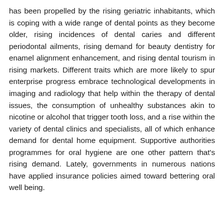has been propelled by the rising geriatric inhabitants, which is coping with a wide range of dental points as they become older, rising incidences of dental caries and different periodontal ailments, rising demand for beauty dentistry for enamel alignment enhancement, and rising dental tourism in rising markets. Different traits which are more likely to spur enterprise progress embrace technological developments in imaging and radiology that help within the therapy of dental issues, the consumption of unhealthy substances akin to nicotine or alcohol that trigger tooth loss, and a rise within the variety of dental clinics and specialists, all of which enhance demand for dental home equipment. Supportive authorities programmes for oral hygiene are one other pattern that's rising demand. Lately, governments in numerous nations have applied insurance policies aimed toward bettering oral well being.